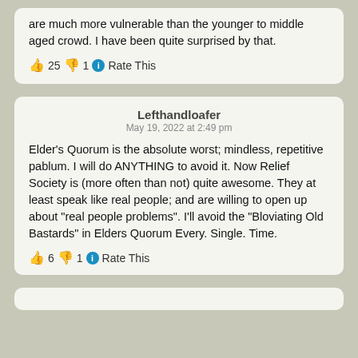are much more vulnerable than the younger to middle aged crowd. I have been quite surprised by that.
👍 25 👎 1 ℹ Rate This
Lefthandloafer
May 19, 2022 at 2:49 pm
Elder's Quorum is the absolute worst; mindless, repetitive pablum. I will do ANYTHING to avoid it. Now Relief Society is (more often than not) quite awesome. They at least speak like real people; and are willing to open up about "real people problems". I'll avoid the "Bloviating Old Bastards" in Elders Quorum Every. Single. Time.
👍 6 👎 1 ℹ Rate This